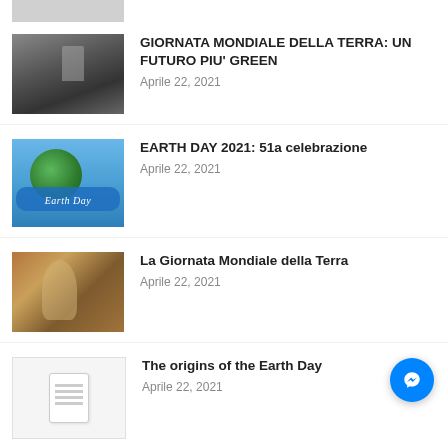[Figure (photo): Partially cropped thumbnail of industrial/Chernobyl scene at top of page]
GIORNATA MONDIALE DELLA TERRA: UN FUTURO PIU' GREEN
Aprile 22, 2021
EARTH DAY 2021: 51a celebrazione
Aprile 22, 2021
La Giornata Mondiale della Terra
Aprile 22, 2021
The origins of the Earth Day
Aprile 22, 2021
Earth-Day e l'Artistico di Cefalù